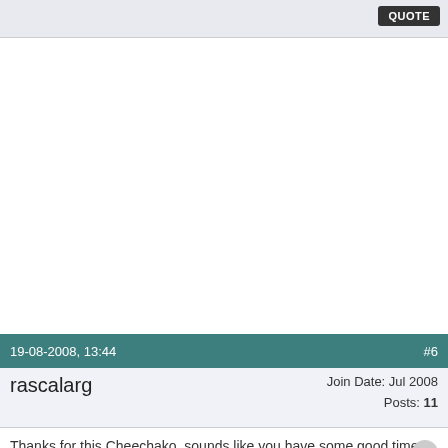QUOTE
19-08-2008, 13:44    #6
rascalarg    Join Date: Jul 2008   Posts: 11
Thanks for this Cheechako, sounds like you have some good times down there... After looking briefly at the charts I did see the easterly winds generally between 11 - 16kn, but it make sense that I will get